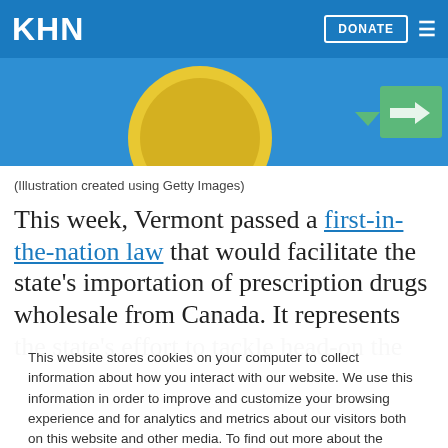KHN
[Figure (illustration): Partial illustration on blue background showing yellow circular shape and green arrow/document shape, related to drug importation from Canada article]
(Illustration created using Getty Images)
This week, Vermont passed a first-in-the-nation law that would facilitate the state's importation of prescription drugs wholesale from Canada. It represents the state's effort to tackle head-on the
This website stores cookies on your computer to collect information about how you interact with our website. We use this information in order to improve and customize your browsing experience and for analytics and metrics about our visitors both on this website and other media. To find out more about the cookies we use, see our Privacy Policy.